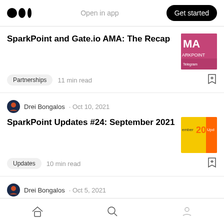Medium logo | Open in app | Get started
SparkPoint and Gate.io AMA: The Recap
Partnerships   11 min read
Drei Bongalos · Oct 10, 2021
SparkPoint Updates #24: September 2021
Updates   10 min read
Drei Bongalos · Oct 5, 2021
Happy 3rd Anniversary, SparkPoint!
Updates   2 min read
Home | Search | Profile